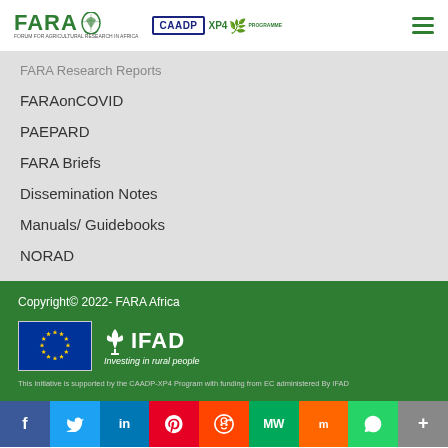FARA CAADP XP4 PROGRAMME
FARA Research Reports
FARAonCOVID
PAEPARD
FARA Briefs
Dissemination Notes
Manuals/ Guidebooks
NORAD
Copyright© 2022- FARA Africa
[Figure (logo): EU flag and IFAD logo - Investing in rural people]
This Initiative is supported by the CAADP-XP4 Program with funding from EC administered By IFAD
[Figure (infographic): Social media sharing bar with Facebook, Twitter, LinkedIn, Pinterest, Reddit, MeWe, Mix, WhatsApp, More buttons]